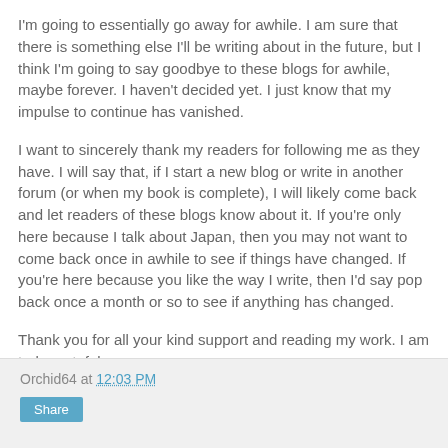I'm going to essentially go away for awhile. I am sure that there is something else I'll be writing about in the future, but I think I'm going to say goodbye to these blogs for awhile, maybe forever. I haven't decided yet. I just know that my impulse to continue has vanished.
I want to sincerely thank my readers for following me as they have. I will say that, if I start a new blog or write in another forum (or when my book is complete), I will likely come back and let readers of these blogs know about it. If you're only here because I talk about Japan, then you may not want to come back once in awhile to see if things have changed. If you're here because you like the way I write, then I'd say pop back once a month or so to see if anything has changed.
Thank you for all your kind support and reading my work. I am truly grateful.
Orchid64 at 12:03 PM